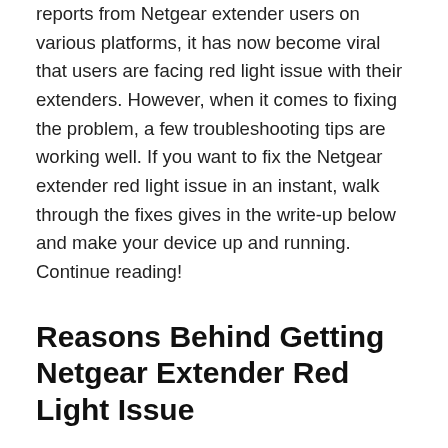who is experiencing the problem. According to many reports from Netgear extender users on various platforms, it has now become viral that users are facing red light issue with their extenders. However, when it comes to fixing the problem, a few troubleshooting tips are working well. If you want to fix the Netgear extender red light issue in an instant, walk through the fixes gives in the write-up below and make your device up and running. Continue reading!
Reasons Behind Getting Netgear Extender Red Light Issue
Before we explain the troubleshooting tips, let's first shed light on the most possible reasons causing the